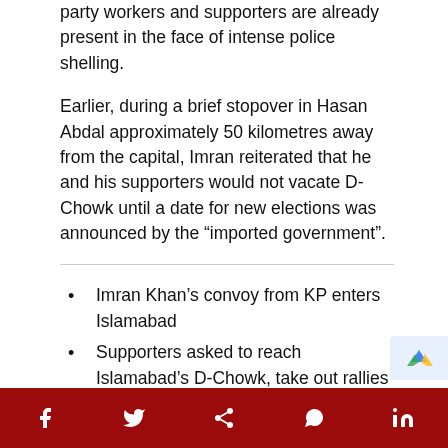party workers and supporters are already present in the face of intense police shelling.
Earlier, during a brief stopover in Hasan Abdal approximately 50 kilometres away from the capital, Imran reiterated that he and his supporters would not vacate D-Chowk until a date for new elections was announced by the “imported government”.
Imran Khan’s convoy from KP enters Islamabad
Supporters asked to reach Islamabad’s D-Chowk, take out rallies in their respective cities
PTI activists clash with Punjab police; Ali Asjad Malhi, Jamshed Cheema among arrested
Dr Yasmin Rashid’s vehicle comes under atta
f  t  share  whatsapp  in